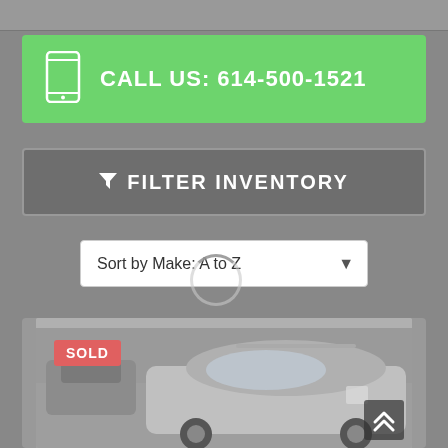CALL US: 614-500-1521
FILTER INVENTORY
Sort by Make: A to Z
[Figure (photo): A silver/grey SUV or hatchback car photographed in a lot with bare trees in the background. A red SOLD badge appears in the upper left of the image.]